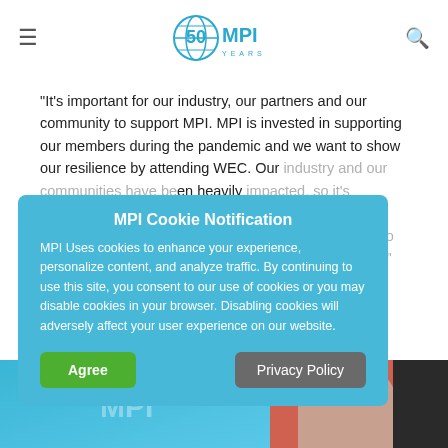MPI 50 Years logo, hamburger menu, search icon
“It’s important for our industry, our partners and our community to support MPI. MPI is invested in supporting our members during the pandemic and we want to show our resilience by attending WEC. Our industry and our communities have been heavily impacted, so it’s imperative that we show we can meet safely while engaging with our customers, peers and friends, and to gather and rekindle our network and our relationships.”
[Figure (screenshot): Cookie notification overlay on MPI website with Agree and Privacy Policy buttons]
[Figure (photo): Photo strip at bottom showing partial image of a person against coral/teal background]